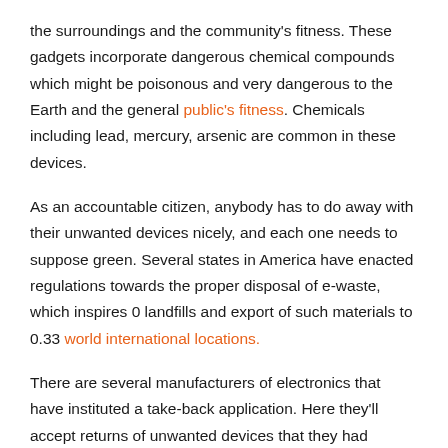the surroundings and the community's fitness. These gadgets incorporate dangerous chemical compounds which might be poisonous and very dangerous to the Earth and the general public's fitness. Chemicals including lead, mercury, arsenic are common in these devices.
As an accountable citizen, anybody has to do away with their unwanted devices nicely, and each one needs to suppose green. Several states in America have enacted regulations towards the proper disposal of e-waste, which inspires 0 landfills and export of such materials to 0.33 world international locations.
There are several manufacturers of electronics that have instituted a take-back application. Here they'll accept returns of unwanted devices that they had manufactured. These companies then recycle almost all additives of these lower back merchandise.